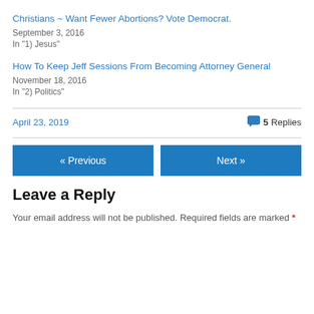Christians ~ Want Fewer Abortions? Vote Democrat.
September 3, 2016
In "1) Jesus"
How To Keep Jeff Sessions From Becoming Attorney General
November 18, 2016
In "2) Politics"
April 23, 2019
5 Replies
« Previous
Next »
Leave a Reply
Your email address will not be published. Required fields are marked *